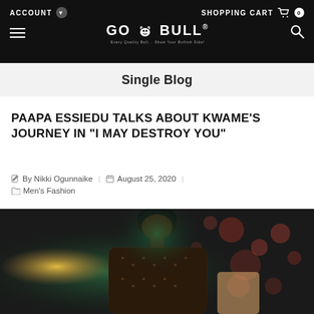ACCOUNT | GO BULL® | SHOPPING CART 0
Single Blog
PAAPA ESSIEDU TALKS ABOUT KWAME'S JOURNEY IN "I MAY DESTROY YOU"
By Nikki Ogunnaike | August 25, 2020 | Men's Fashion
[Figure (photo): A man in a patterned shirt/jacket photographed in a dark, atmospheric setting with green and red lighting, bokeh background with candles and lights]